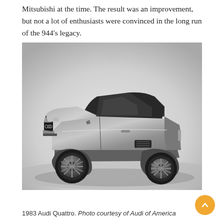Mitsubishi at the time. The result was an improvement, but not a lot of enthusiasts were convinced in the long run of the 944's legacy.
[Figure (photo): Black and white photograph of a 1983 Audi Quattro coupe, shown in a three-quarter front view on a light gray studio background.]
1983 Audi Quattro. Photo courtesy of Audi of America